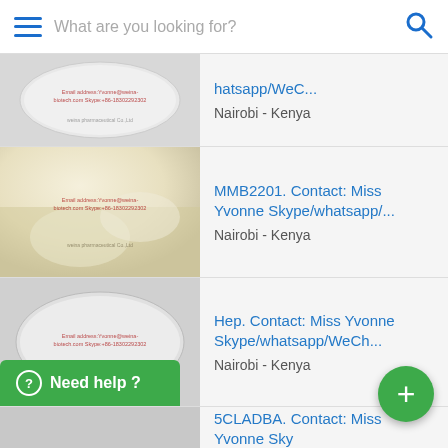What are you looking for?
[Figure (photo): Oval white powder in container with red watermark email/skype contact info]
hatsapp/WeC...
Nairobi - Kenya
[Figure (photo): White powder granules close-up with red watermark email/skype contact info]
MMB2201. Contact: Miss Yvonne Skype/whatsapp/...
Nairobi - Kenya
[Figure (photo): Oval white powder in container with red watermark email/skype contact info]
Hep. Contact: Miss Yvonne Skype/whatsapp/WeCh...
Nairobi - Kenya
5CLADBA. Contact: Miss Yvonne Sky...